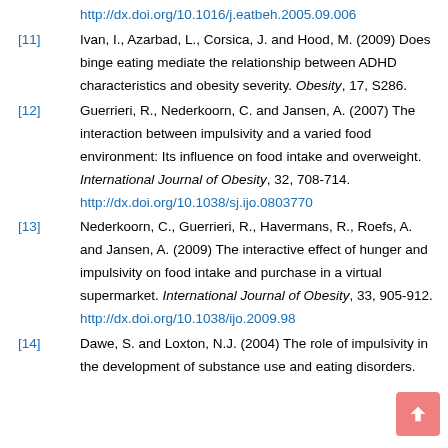http://dx.doi.org/10.1016/j.eatbeh.2005.09.006
[11] Ivan, I., Azarbad, L., Corsica, J. and Hood, M. (2009) Does binge eating mediate the relationship between ADHD characteristics and obesity severity. Obesity, 17, S286.
[12] Guerrieri, R., Nederkoorn, C. and Jansen, A. (2007) The interaction between impulsivity and a varied food environment: Its influence on food intake and overweight. International Journal of Obesity, 32, 708-714. http://dx.doi.org/10.1038/sj.ijo.0803770
[13] Nederkoorn, C., Guerrieri, R., Havermans, R., Roefs, A. and Jansen, A. (2009) The interactive effect of hunger and impulsivity on food intake and purchase in a virtual supermarket. International Journal of Obesity, 33, 905-912. http://dx.doi.org/10.1038/ijo.2009.98
[14] Dawe, S. and Loxton, N.J. (2004) The role of impulsivity in the development of substance use and eating disorders.